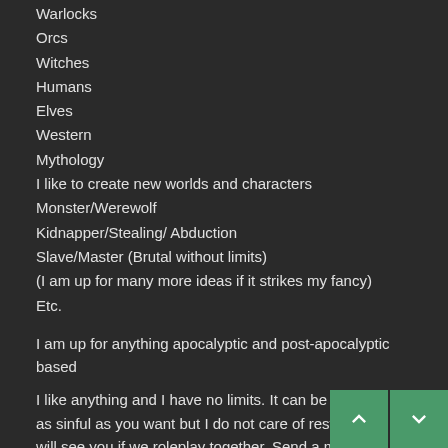Warlocks
Orcs
Witches
Humans
Elves
Western
Mythology
I like to create new worlds and characters
Monster/Werewolf
Kidnapper/Stealing/ Abduction
Slave/Master (Brutal without limits)
(I am up for many more ideas if it strikes my fancy)
Etc.
I am up for anything apocalyptic and post-apocalyptic based
I like anything and I have no limits. It can be as dark and as sinful as you want but I do not care of restrictions. I will see you if we roleplay together. Send a message my way and we can soon be in a roleplay!
Dislikes: